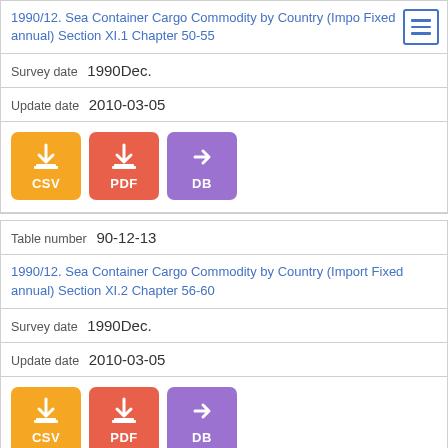1990/12. Sea Container Cargo Commodity by Country (Import Fixed annual) Section XI.1 Chapter 50-55
Survey date  1990Dec.
Update date  2010-03-05
[Figure (other): Download buttons: CSV (orange), PDF (red-orange), DB (purple)]
Table number  90-12-13
1990/12. Sea Container Cargo Commodity by Country (Import Fixed annual) Section XI.2 Chapter 56-60
Survey date  1990Dec.
Update date  2010-03-05
[Figure (other): Download buttons: CSV (orange), PDF (red-orange), DB (purple)]